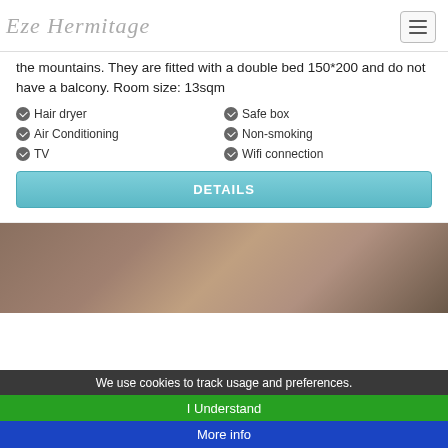Eze Hermitage
the mountains. They are fitted with a double bed 150*200 and do not have a balcony. Room size: 13sqm
Hair dryer
Safe box
Air Conditioning
Non-smoking
TV
Wifi connection
DETAILS
[Figure (photo): Interior photo of a hotel room showing artwork on walls]
We use cookies to track usage and preferences.
I Understand
More info